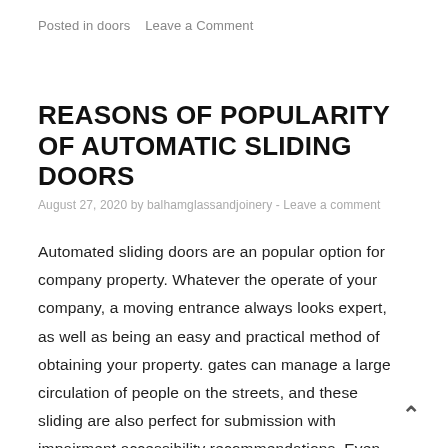Posted in doors   Leave a Comment
REASONS OF POPULARITY OF AUTOMATIC SLIDING DOORS
August 27, 2020 by balhamglassandjoinery - Leave a comment
Automated sliding doors are an popular option for company property. Whatever the operate of your company, a moving entrance always looks expert, as well as being an easy and practical method of obtaining your property. gates can manage a large circulation of people on the streets, and these sliding are also perfect for submission with impairment accessibility recommendations. Even mother and father with pushchairs and buggies find these moving the most